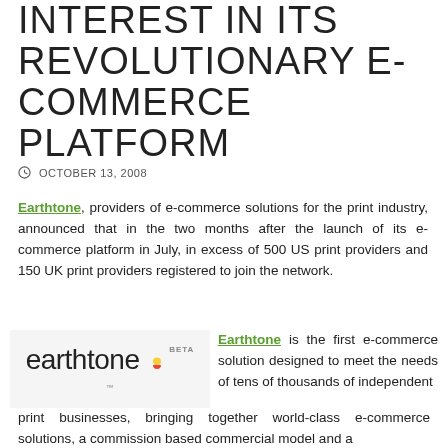INTEREST IN ITS REVOLUTIONARY E-COMMERCE PLATFORM
OCTOBER 13, 2008
Earthtone, providers of e-commerce solutions for the print industry, announced that in the two months after the launch of its e-commerce platform in July, in excess of 500 US print providers and 150 UK print providers registered to join the network.
[Figure (logo): Earthtone BETA logo with colorful dot and TM mark on gray background]
Earthtone is the first e-commerce solution designed to meet the needs of tens of thousands of independent print businesses, bringing together world-class e-commerce solutions, a commission based commercial model and a